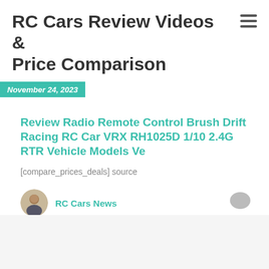RC Cars Review Videos & Price Comparison
November 24, 2023
Review Radio Remote Control Brush Drift Racing RC Car VRX RH1025D 1/10 2.4G RTR Vehicle Models Ve
[compare_prices_deals] source
RC Cars News